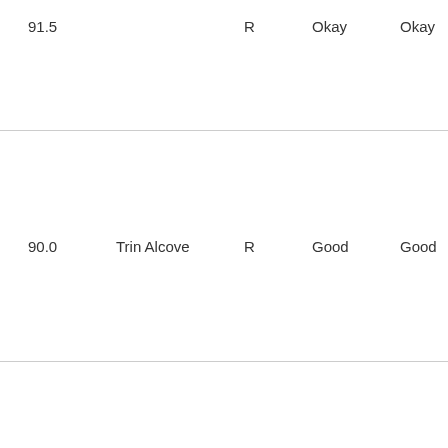| Score | Name | Type | Rating1 | Rating2 | Num |
| --- | --- | --- | --- | --- | --- |
| 91.5 |  | R | Okay | Okay | 2 |
| 90.0 | Trin Alcove | R | Good | Good | 3 |